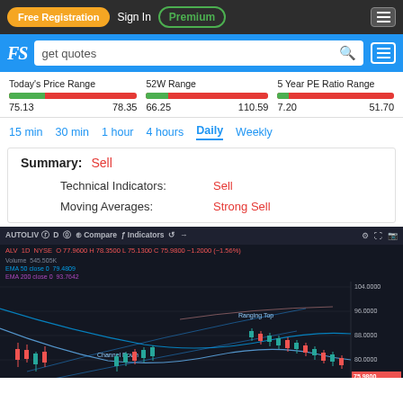Free Registration  Sign In  Premium
get quotes
Today's Price Range  52W Range  5 Year PE Ratio Range
75.13 – 78.35  66.25 – 110.59  7.20 – 51.70
15 min  30 min  1 hour  4 hours  Daily  Weekly
Summary: Sell
Technical Indicators: Sell
Moving Averages: Strong Sell
[Figure (continuous-plot): Candlestick chart for AUTOLIV (ALV) 1D NYSE showing price action with EMA 50 (blue), EMA 200 (purple), channel lines (blue diagonal), and price annotation labels. Price range approximately 72-104. Labels: Channel Down, Ranging Top. Red/green candlesticks shown.]